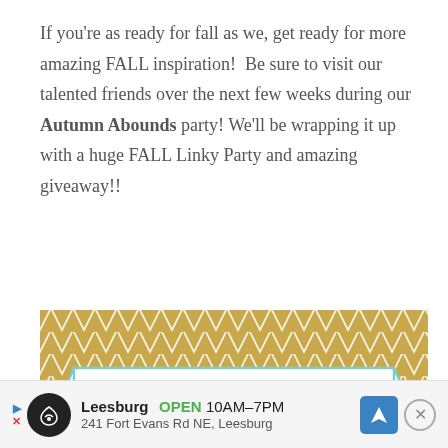If you're as ready for fall as we, get ready for more amazing FALL inspiration!  Be sure to visit our talented friends over the next few weeks during our Autumn Abounds party! We'll be wrapping it up with a huge FALL Linky Party and amazing giveaway!!
[Figure (illustration): Autumn Abounds logo/banner with gold and white chevron background, a banner ribbon with teal border reading 'Autumn Abounds' in gold script, and subtitle text 'FALL BLOG HOP, LINKY & GIVEAWAY']
Leesburg  OPEN  10AM–7PM  241 Fort Evans Rd NE, Leesburg